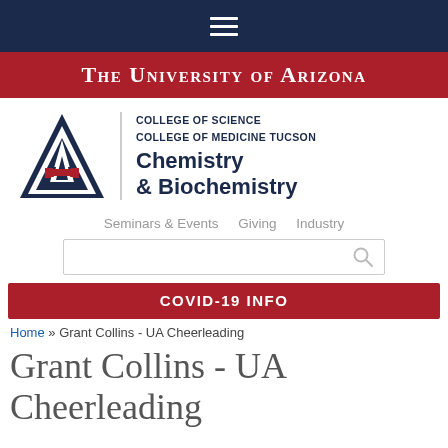[Figure (logo): University of Arizona Chemistry & Biochemistry department logo with UA block letter A and department name]
THE UNIVERSITY OF ARIZONA
Seminars & Events   Giving   Industry
COVID-19 INFO
Home » Grant Collins - UA Cheerleading
Grant Collins - UA Cheerleading